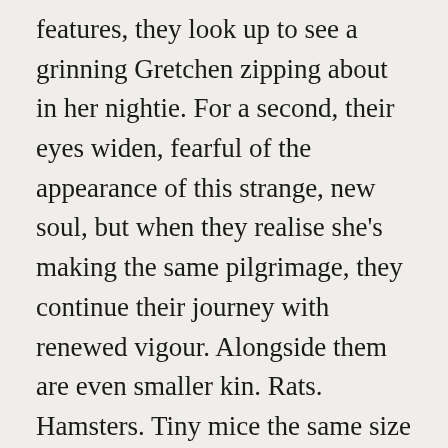features, they look up to see a grinning Gretchen zipping about in her nightie. For a second, their eyes widen, fearful of the appearance of this strange, new soul, but when they realise she's making the same pilgrimage, they continue their journey with renewed vigour. Alongside them are even smaller kin. Rats. Hamsters. Tiny mice the same size as her hand. Reaching out, she strokes the fur of one lagging behind its litter, and as it squeaks in surprise, Gretchen squeaks too. However, hers is more of a squeal and louder by far. The galloping horses make the muddy ground shake, but so do the paws of those that follow. The whole world is quaking, and as Gretchen's